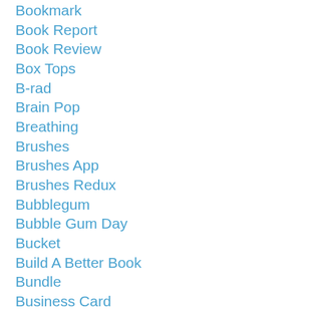Bookmark
Book Report
Book Review
Box Tops
B-rad
Brain Pop
Breathing
Brushes
Brushes App
Brushes Redux
Bubblegum
Bubble Gum Day
Bucket
Build A Better Book
Bundle
Business Card
Butterfly
Button
Bye Bye Road
Caf
Calm Down